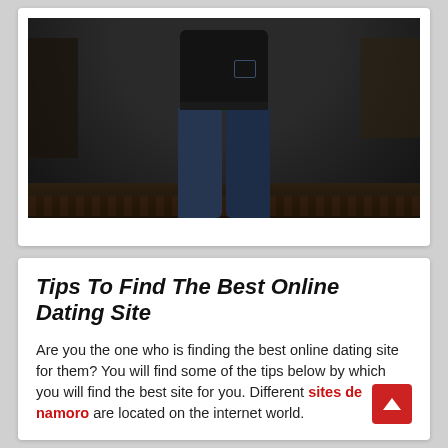[Figure (photo): A person photographed from behind, wearing dark jeans and a dark top, standing in a dimly lit room with a dark floor and minimal background furnishings.]
Tips To Find The Best Online Dating Site
Are you the one who is finding the best online dating site for them? You will find some of the tips below by which you will find the best site for you. Different sites de namoro are located on the internet world.